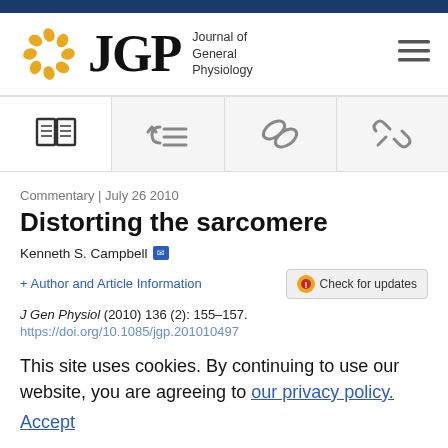[Figure (logo): Journal of General Physiology (JGP) logo with golden circular emblem and large JGP text]
[Figure (infographic): Navigation icon bar with four icons: open book, references, links, and chain link]
Commentary | July 26 2010
Distorting the sarcomere
Kenneth S. Campbell
+ Author and Article Information
J Gen Physiol (2010) 136 (2): 155–157.
https://doi.org/10.1085/jgp.201010497
This site uses cookies. By continuing to use our website, you are agreeing to our privacy policy. Accept